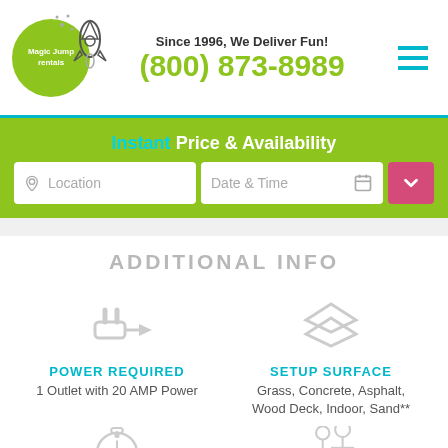[Figure (logo): Magic Jump Rentals logo - green circle with rocket, company name inside]
Since 1996, We Deliver Fun! (800) 873-8989
Instant Price & Availability
Location  Date & Time
ADDITIONAL INFO
POWER REQUIRED
1 Outlet with 20 AMP Power
SETUP SURFACE
Grass, Concrete, Asphalt, Wood Deck, Indoor, Sand**